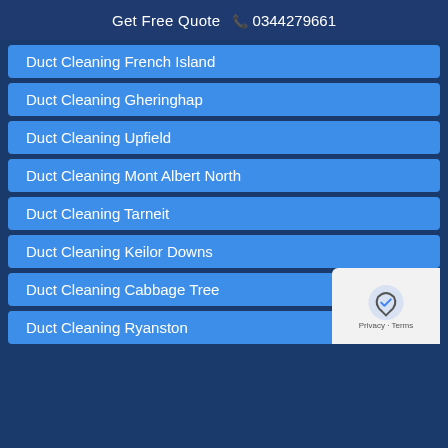Get Free Quote  📞 0344279661
Duct Cleaning French Island
Duct Cleaning Gheringhap
Duct Cleaning Upfield
Duct Cleaning Mont Albert North
Duct Cleaning Tarneit
Duct Cleaning Keilor Downs
Duct Cleaning Cabbage Tree
Duct Cleaning Ryanston